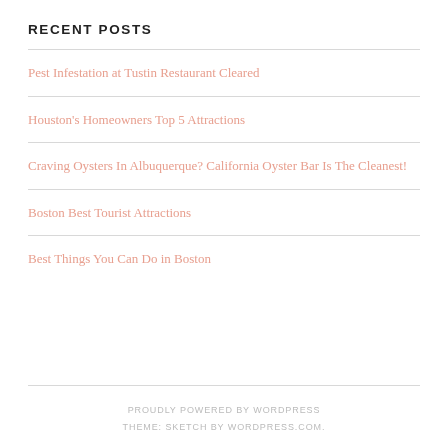RECENT POSTS
Pest Infestation at Tustin Restaurant Cleared
Houston's Homeowners Top 5 Attractions
Craving Oysters In Albuquerque? California Oyster Bar Is The Cleanest!
Boston Best Tourist Attractions
Best Things You Can Do in Boston
PROUDLY POWERED BY WORDPRESS
THEME: SKETCH BY WORDPRESS.COM.